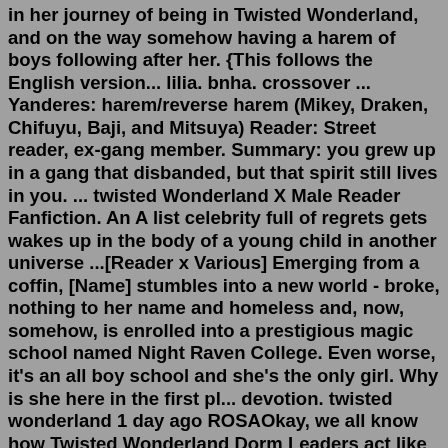in her journey of being in Twisted Wonderland, and on the way somehow having a harem of boys following after her. {This follows the English version... lilia. bnha. crossover ... Yanderes: harem/reverse harem (Mikey, Draken, Chifuyu, Baji, and Mitsuya) Reader: Street reader, ex-gang member. Summary: you grew up in a gang that disbanded, but that spirit still lives in you. ... twisted Wonderland X Male Reader Fanfiction. An A list celebrity full of regrets gets wakes up in the body of a young child in another universe ...[Reader x Various] Emerging from a coffin, [Name] stumbles into a new world - broke, nothing to her name and homeless and, now, somehow, is enrolled into a prestigious magic school named Night Raven College. Even worse, it's an all boy school and she's the only girl. Why is she here in the first pl... devotion. twisted wonderland 1 day ago ROSAOkay, we all know how Twisted Wonderland Dorm Leaders act like as a yandere, but can you imagine all seven of them courting you though? It's an intense yandere harem all-out war! TW: